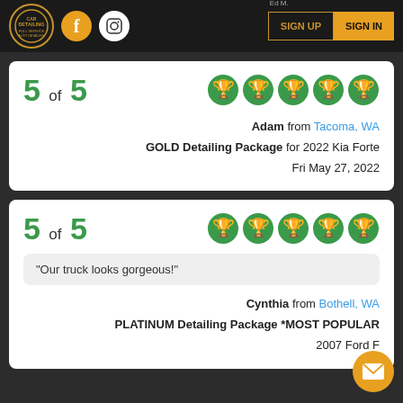Car Detailing — navigation bar with logo, Facebook, Instagram icons, SIGN UP and SIGN IN buttons
5 of 5
Adam from Tacoma, WA
GOLD Detailing Package for 2022 Kia Forte
Fri May 27, 2022
5 of 5
“Our truck looks gorgeous!”
Cynthia from Bothell, WA
PLATINUM Detailing Package *MOST POPULAR
2007 Ford F